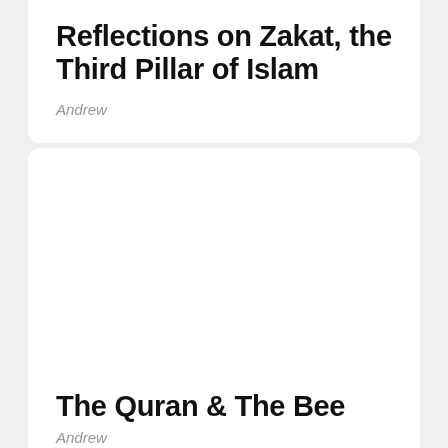Reflections on Zakat, the Third Pillar of Islam
Andrew
[Figure (photo): White blank card area with yellow bar at the bottom]
The Quran & The Bee
Andrew